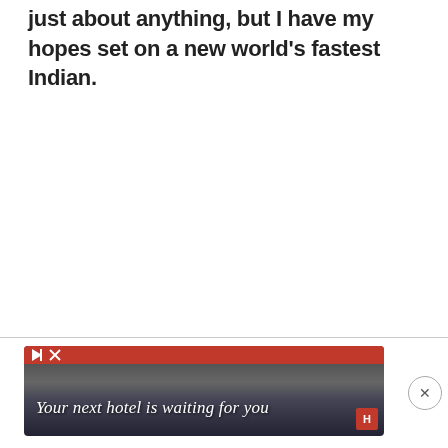just about anything, but I have my hopes set on a new world's fastest Indian.
[Figure (other): Advertisement banner: dark scenic background with red top bar and play/close icons. Text overlay reads 'Your next hotel is waiting for you' in italic white serif font. Hotel.com logo visible in bottom right corner. A circular close (X) button appears to the right of the banner.]